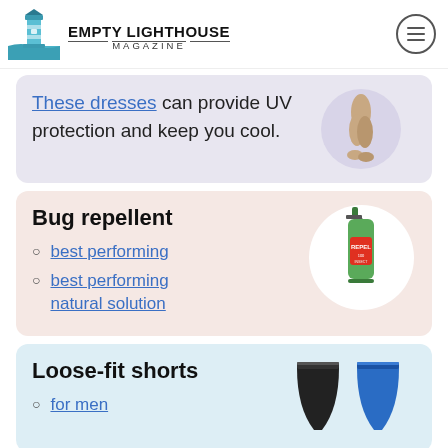Empty Lighthouse Magazine
These dresses can provide UV protection and keep you cool.
Bug repellent
best performing
best performing natural solution
Loose-fit shorts
for men